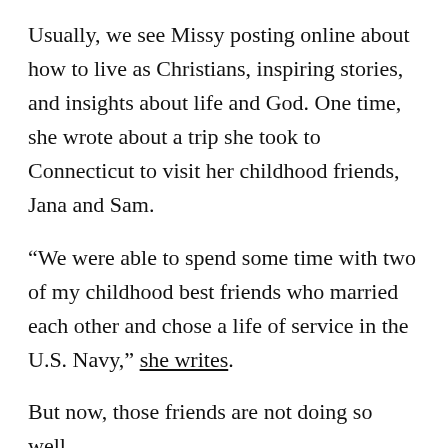Usually, we see Missy posting online about how to live as Christians, inspiring stories, and insights about life and God. One time, she wrote about a trip she took to Connecticut to visit her childhood friends, Jana and Sam.
“We were able to spend some time with two of my childhood best friends who married each other and chose a life of service in the U.S. Navy,” she writes.
But now, those friends are not doing so well.
According to a photo Missy posted on Instagram, Jana has been diagnosed with